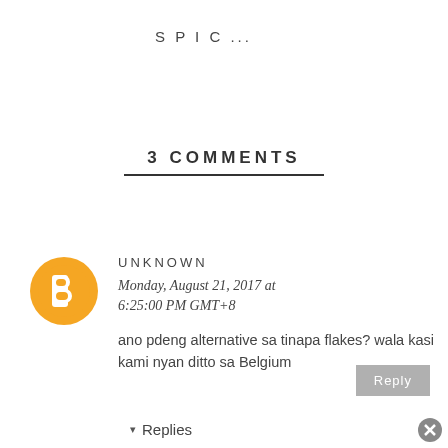SPIC...
3 COMMENTS
[Figure (logo): Blogger orange circle avatar icon with white 'B' letter]
UNKNOWN
Monday, August 21, 2017 at 6:25:00 PM GMT+8
ano pdeng alternative sa tinapa flakes? wala kasi kami nyan ditto sa Belgium
Reply
▾ Replies